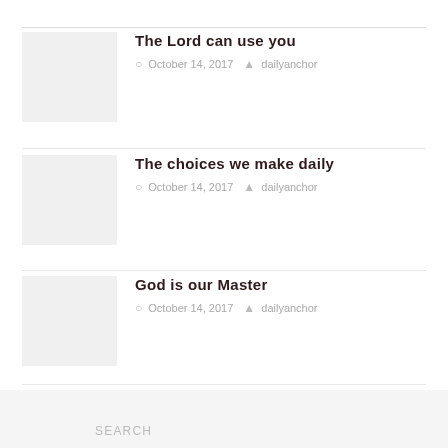The Lord can use you — October 14, 2017 — dailyanchor
The choices we make daily — October 14, 2017 — dailyanchor
God is our Master — October 14, 2017 — dailyanchor
Pagination: 1 (current), 2, ..., 4, »
SEARCH